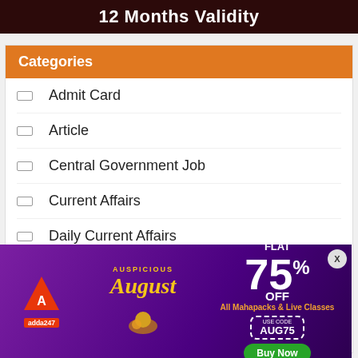12 Months Validity
Categories
Admit Card
Article
Central Government Job
Current Affairs
Daily Current Affairs
Daily Quiz
English Vocabulary
[Figure (infographic): Adda247 advertisement banner: FLAT 75% OFF on All Mahapacks & Live Classes. Use code AUG75. Auspicious August themed with purple/maroon background.]